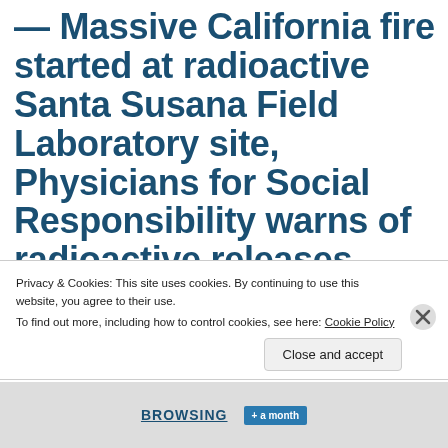— Massive California fire started at radioactive Santa Susana Field Laboratory site, Physicians for Social Responsibility warns of radioactive releases
Privacy & Cookies: This site uses cookies. By continuing to use this website, you agree to their use.
To find out more, including how to control cookies, see here: Cookie Policy